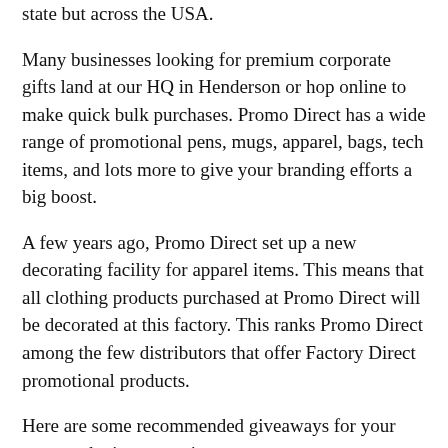state but across the USA.
Many businesses looking for premium corporate gifts land at our HQ in Henderson or hop online to make quick bulk purchases. Promo Direct has a wide range of promotional pens, mugs, apparel, bags, tech items, and lots more to give your branding efforts a big boost.
A few years ago, Promo Direct set up a new decorating facility for apparel items. This means that all clothing products purchased at Promo Direct will be decorated at this factory. This ranks Promo Direct among the few distributors that offer Factory Direct promotional products.
Here are some recommended giveaways for your next marketing campaign:
Pens: Bic® Clic Stic, Bic® Grip Roller Pen, and Luxe